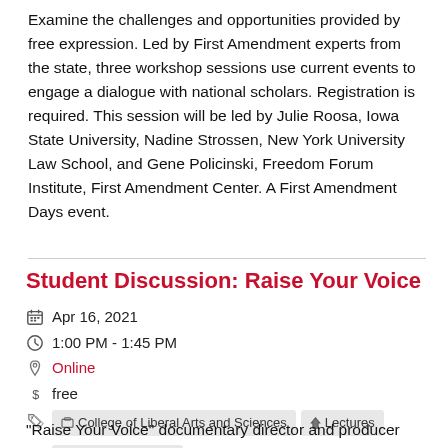Examine the challenges and opportunities provided by free expression. Led by First Amendment experts from the state, three workshop sessions use current events to engage a dialogue with national scholars. Registration is required. This session will be led by Julie Roosa, Iowa State University, Nadine Strossen, New York University Law School, and Gene Policinski, Freedom Forum Institute, First Amendment Center. A First Amendment Days event.
Student Discussion: Raise Your Voice
Apr 16, 2021
1:00 PM - 1:45 PM
Online
free
College of Liberal Arts and Sciences   Lectures   Student activities
"Raise Your Voice" documentary director and producer